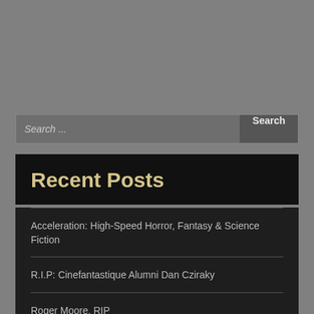Search ...
Recent Posts
Acceleration: High-Speed Horror, Fantasy & Science Fiction
R.I.P: Cinefantastique Alumni Dan Cziraky
Roger Moore, RIP
CFQ alumni celebrate classic Batman series in new book